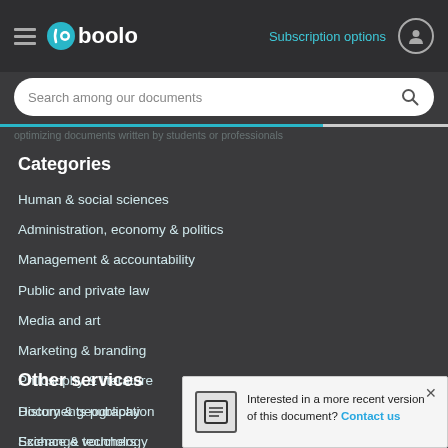Gboolo — Subscription options
Search among our documents
optimizing documents written by students or professionals
Categories
Human & social sciences
Administration, economy & politics
Management & accountability
Public and private law
Media and art
Marketing & branding
Philosophy & literature
History & geography
Science & technology
Other services
Documents publication
Exchange vouchers
Interested in a more recent version of this document? Contact us